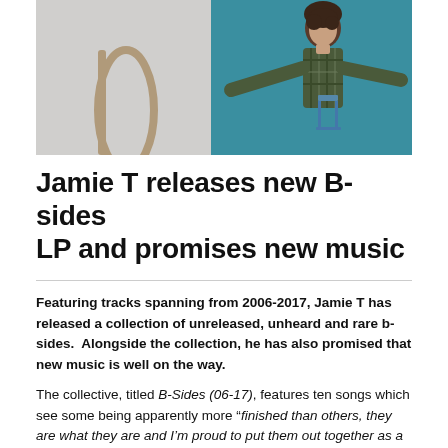[Figure (photo): Split photo: left half shows a light grey background with a partial staircase railing, right half shows a young man in a plaid shirt with arms outstretched against a teal/blue background]
Jamie T releases new B-sides LP and promises new music
Featuring tracks spanning from 2006-2017, Jamie T has released a collection of unreleased, unheard and rare b-sides.  Alongside the collection, he has also promised that new music is well on the way.
The collective, titled B-Sides (06-17), features ten songs which see some being apparently more “finished than others, they are what they are and I’m proud to put them out together as a strange mutant piece of work for you now.”  The announcement was posted via the Wimbledon-born